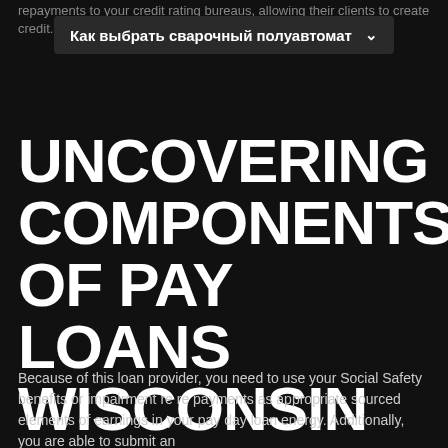repayments to your credit rating bureaus, allowing their clients to create credit.
[Figure (screenshot): Dropdown menu with Russian text label 'Как выбрать сварочный полуавтомат' on dark background]
UNCOVERING COMPONENTS OF PAY LOANS WISCONSIN DAY
Because of this loan provider, you need to use your Social Safety benefits or impairment re re payments as appropriate sourced elements of earnings in your pay day loan energy. Additionally, you are able to submit an